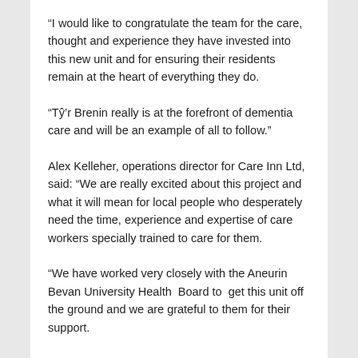“I would like to congratulate the team for the care, thought and experience they have invested into this new unit and for ensuring their residents remain at the heart of everything they do.
“Tý’r Brenin really is at the forefront of dementia care and will be an example of all to follow.”
Alex Kelleher, operations director for Care Inn Ltd, said: “We are really excited about this project and what it will mean for local people who desperately need the time, experience and expertise of care workers specially trained to care for them.
“We have worked very closely with the Aneurin Bevan University Health Board to get this unit off the ground and we are grateful to them for their support.